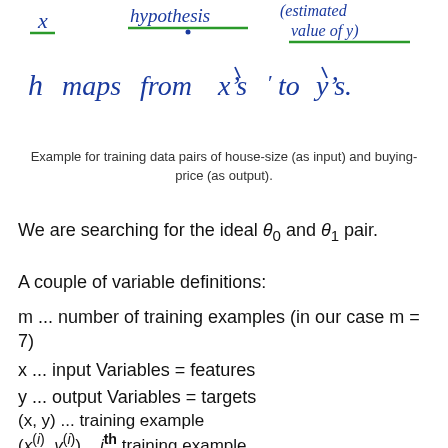[Figure (illustration): Handwritten text showing 'x hypothesis (estimated value of y)' with green underlines, and 'h maps from x's to y's.' written in blue ink]
Example for training data pairs of house-size (as input) and buying-price (as output).
We are searching for the ideal θ₀ and θ₁ pair.
A couple of variable definitions:
m ... number of training examples (in our case m = 7)
x ... input Variables = features
y ... output Variables = targets
(x, y) ... training example
(x^(i), y^(i)) ...i^th training example